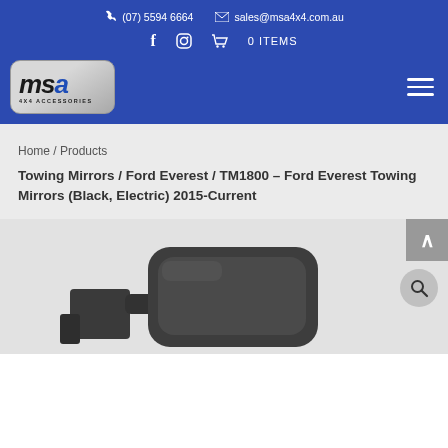(07) 5594 6664  sales@msa4x4.com.au
[Figure (logo): MSA 4x4 Accessories logo in silver/grey rounded rectangle with bold italic lettering and blue 'a']
Home / Products
Towing Mirrors / Ford Everest / TM1800 – Ford Everest Towing Mirrors (Black, Electric) 2015-Current
[Figure (photo): Partial view of black Ford Everest towing mirror product photo against light grey background]